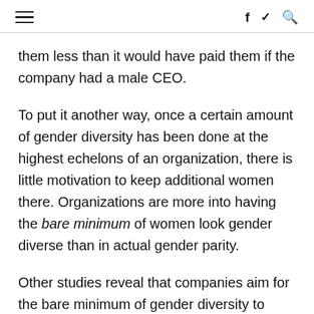≡   f  ✓  Q
them less than it would have paid them if the company had a male CEO.
To put it another way, once a certain amount of gender diversity has been done at the highest echelons of an organization, there is little motivation to keep additional women there. Organizations are more into having the bare minimum of women look gender diverse than in actual gender parity.
Other studies reveal that companies aim for the bare minimum of gender diversity to